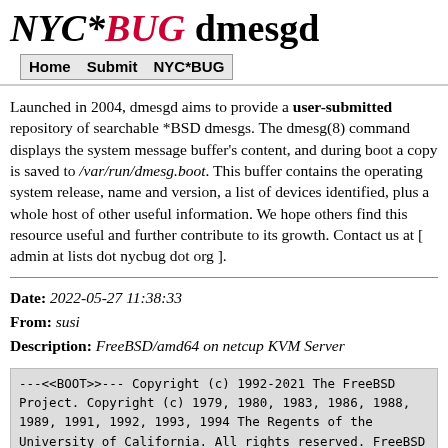NYC*BUG dmesgd
Home  Submit  NYC*BUG
Launched in 2004, dmesgd aims to provide a user-submitted repository of searchable *BSD dmesgs. The dmesg(8) command displays the system message buffer's content, and during boot a copy is saved to /var/run/dmesg.boot. This buffer contains the operating system release, name and version, a list of devices identified, plus a whole host of other useful information. We hope others find this resource useful and further contribute to its growth. Contact us at [ admin at lists dot nycbug dot org ].
Date: 2022-05-27 11:38:33
From: susi
Description: FreeBSD/amd64 on netcup KVM Server
---<<BOOT>>---
Copyright (c) 1992-2021 The FreeBSD Project.
Copyright (c) 1979, 1980, 1983, 1986, 1988, 1989,
1991, 1992, 1993, 1994
        The Regents of the University of California.
All rights reserved.
FreeBSD is a registered trademark of The FreeBSD